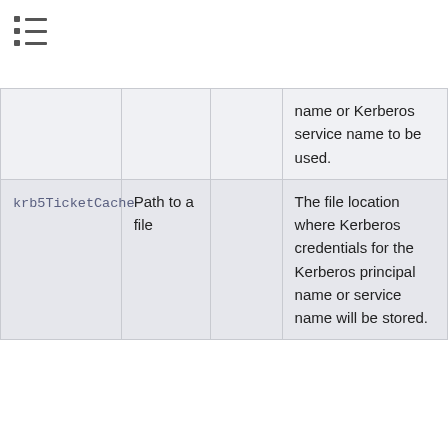≡ (list/navigation icon)
|  |  |  | name or Kerberos service name to be used. |
| krb5TicketCache | Path to a file |  | The file location where Kerberos credentials for the Kerberos principal name or service name will be stored. |